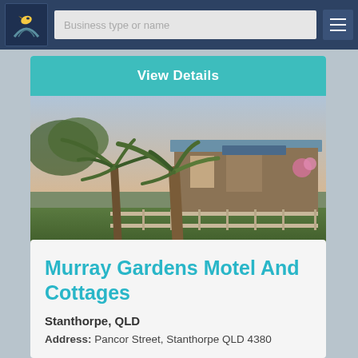[Figure (screenshot): Website navigation bar with logo (bird/road icon), search field placeholder 'Business type or name', and hamburger menu button on dark blue background]
View Details
[Figure (photo): Outdoor photo of Murray Gardens Motel And Cottages showing palm trees in foreground and motel buildings with decking/railings in background, taken at dusk/dawn]
Murray Gardens Motel And Cottages
Stanthorpe, QLD
Address: Pancor Street, Stanthorpe QLD 4380